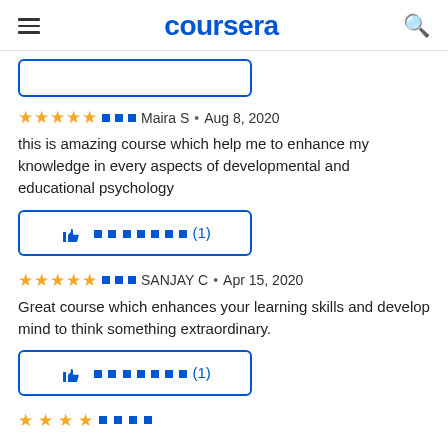coursera
[Figure (screenshot): Partially visible button at top]
⬛⬛⬛ Maira S • Aug 8, 2020
this is amazing course which help me to enhance my knowledge in every aspects of developmental and educational psychology
[Figure (screenshot): Helpful button with thumbs up and count (1)]
⬛⬛⬛ SANJAY C • Apr 15, 2020
Great course which enhances your learning skills and develop mind to think something extraordinary.
[Figure (screenshot): Helpful button with thumbs up and count (1)]
[Figure (screenshot): Partial star rating row at bottom of page]